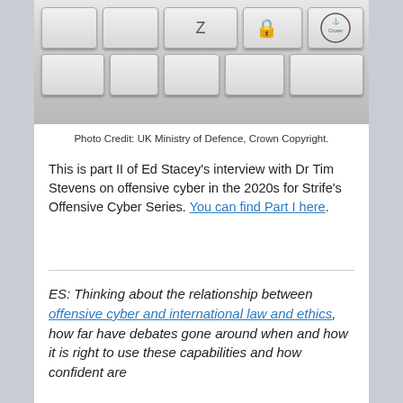[Figure (photo): Close-up photograph of a keyboard with stylized keys showing a lock icon and a UK Ministry of Defence crown emblem badge on one of the keys.]
Photo Credit: UK Ministry of Defence, Crown Copyright.
This is part II of Ed Stacey’s interview with Dr Tim Stevens on offensive cyber in the 2020s for Strife’s Offensive Cyber Series. You can find Part I here.
ES: Thinking about the relationship between offensive cyber and international law and ethics, how far have debates gone around when and how it is right to use these capabilities and how confident are